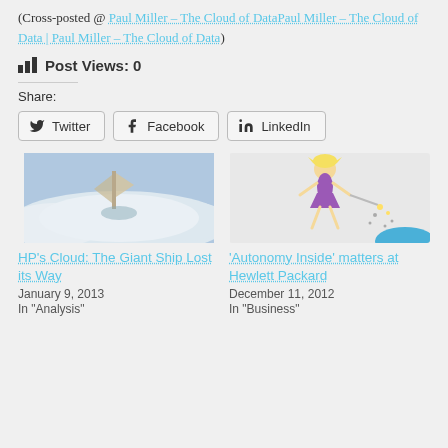(Cross-posted @ Paul Miller – The Cloud of Data Paul Miller – The Cloud of Data | Paul Miller – The Cloud of Data)
Post Views: 0
Share:
Twitter | Facebook | LinkedIn
[Figure (photo): Thumbnail image of a ship in clouds for HP's Cloud article]
HP's Cloud: The Giant Ship Lost its Way
January 9, 2013
In "Analysis"
[Figure (illustration): Thumbnail image of Tinkerbell fairy with wand for Autonomy Inside article]
'Autonomy Inside' matters at Hewlett Packard
December 11, 2012
In "Business"